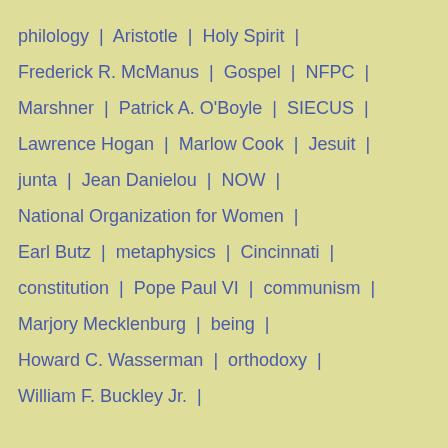philology  |  Aristotle  |  Holy Spirit  |
Frederick R. McManus  |  Gospel  |  NFPC  |
Marshner  |  Patrick A. O'Boyle  |  SIECUS  |
Lawrence Hogan  |  Marlow Cook  |  Jesuit  |
junta  |  Jean Danielou  |  NOW  |
National Organization for Women  |
Earl Butz  |  metaphysics  |  Cincinnati  |
constitution  |  Pope Paul VI  |  communism  |
Marjory Mecklenburg  |  being  |
Howard C. Wasserman  |  orthodoxy  |
William F. Buckley Jr.  |